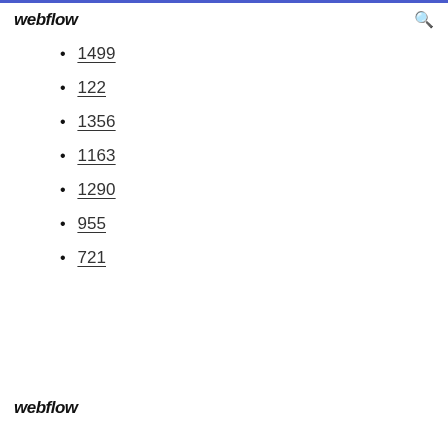webflow
1499
122
1356
1163
1290
955
721
webflow